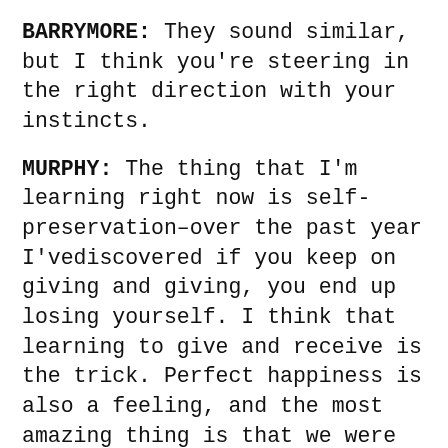BARRYMORE: They sound similar, but I think you're steering in the right direction with your instincts.
MURPHY: The thing that I'm learning right now is self-preservation–over the past year I'vediscovered if you keep on giving and giving, you end up losing yourself. I think that learning to give and receive is the trick. Perfect happiness is also a feeling, and the most amazing thing is that we were all born with the gift to make it happen in a heartbeat. Putting on certainmusic, reading something can make us feel a certain way; affirmations, letting